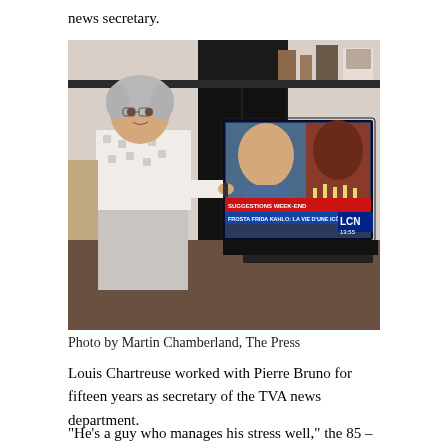news secretary.
[Figure (photo): An elderly woman with curly grey hair and glasses, wearing a white patterned top and light grey pants, stands smiling next to a large flat-screen TV. The TV displays a French news channel (LCN) showing a male anchor and a graphic about Frida Kahlo. A dark bookshelf is visible in the background.]
Photo by Martin Chamberland, The Press
Louis Chartreuse worked with Pierre Bruno for fifteen years as secretary of the TVA news department.
“He’s a guy who manages his stress well,” the 85 –